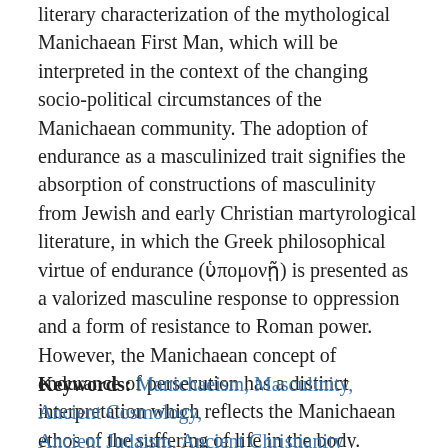literary characterization of the mythological Manichaean First Man, which will be interpreted in the context of the changing socio-political circumstances of the Manichaean community. The adoption of endurance as a masculinized trait signifies the absorption of constructions of masculinity from Jewish and early Christian martyrological literature, in which the Greek philosophical virtue of endurance (ὑπομονῇ) is presented as a valorized masculine response to oppression and a form of resistance to Roman power. However, the Manichaean concept of endurance of persecution has a distinct interpretation which reflects the Manichaean ethos of the suffering of life in the body.
Keywords: Manichaeism, Masculinity, Ancient Cosmology, Ancient Judaism, Ancient Christianity